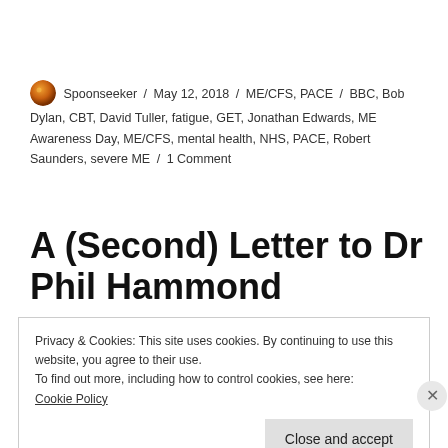Spoonseeker / May 12, 2018 / ME/CFS, PACE / BBC, Bob Dylan, CBT, David Tuller, fatigue, GET, Jonathan Edwards, ME Awareness Day, ME/CFS, mental health, NHS, PACE, Robert Saunders, severe ME / 1 Comment
A (Second) Letter to Dr Phil Hammond
Privacy & Cookies: This site uses cookies. By continuing to use this website, you agree to their use.
To find out more, including how to control cookies, see here:
Cookie Policy